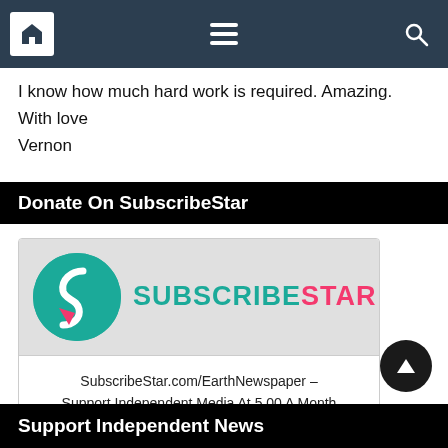[Navigation bar with home, menu, and search icons]
I know how much hard work is required. Amazing.
With love
Vernon
Donate On SubscribeStar
[Figure (logo): SubscribeStar logo with teal and pink circle icon and SUBSCRIBESTAR wordmark]
SubscribeStar.com/EarthNewspaper – Support Independent Media At 5.00 A Month
Support Independent News